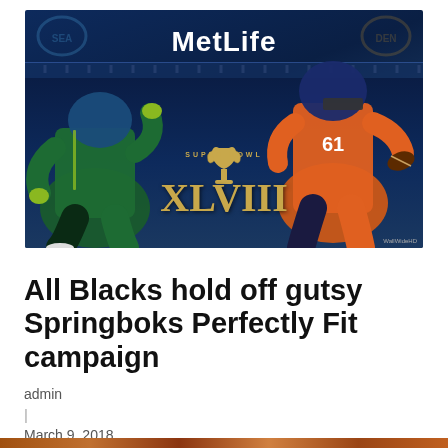[Figure (photo): Super Bowl XLVIII promotional image showing a Seattle Seahawks player in green/blue uniform running with the ball on the left, and a Denver Broncos player in orange uniform holding a football on the right, with the MetLife stadium sign at the top and the Super Bowl XLVIII logo (gold trophy and text) in the center. NFL team logos (Seahawks top-left, Broncos top-right) appear as watermarks. Watermark 'WallWideHD' in bottom-right corner.]
All Blacks hold off gutsy Springboks Perfectly Fit campaign
admin
|
March 9, 2018
[Figure (photo): Partial image strip visible at bottom of page, appears to show people in sports/athletic context, cropped.]